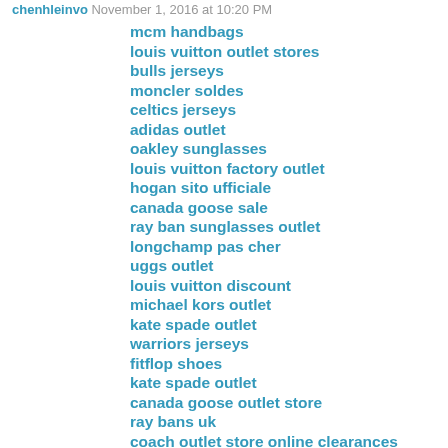chenhleinvo November 1, 2016 at 10:20 PM
mcm handbags
louis vuitton outlet stores
bulls jerseys
moncler soldes
celtics jerseys
adidas outlet
oakley sunglasses
louis vuitton factory outlet
hogan sito ufficiale
canada goose sale
ray ban sunglasses outlet
longchamp pas cher
uggs outlet
louis vuitton discount
michael kors outlet
kate spade outlet
warriors jerseys
fitflop shoes
kate spade outlet
canada goose outlet store
ray bans uk
coach outlet store online clearances